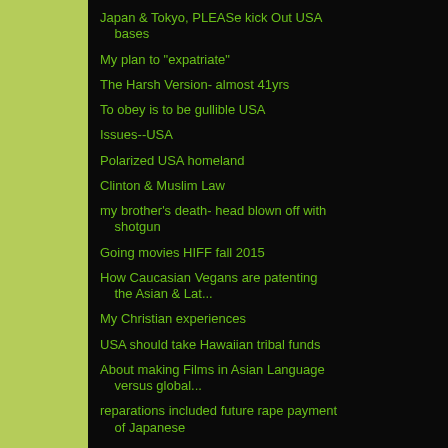Japan & Tokyo, PLEASe kick Out USA bases
My plan to "expatriate"
The Harsh Version- almost 41yrs
To obey is to be gullible USA
Issues--USA
Polarized USA homeland
Clinton & Muslim Law
my brother's death- head blown off with shotgun
Going movies HIFF fall 2015
How Caucasian Vegans are patenting the Asian & Lat...
My Christian experiences
USA should take Hawaiian tribal funds
About making Films in Asian Language versus global...
reparations included future rape payment of Japanese
HNL security should improve--
I barely didn't sleep.